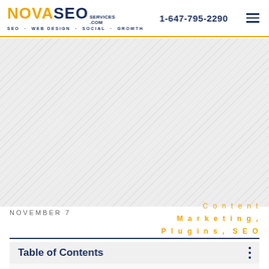NOVA SEO SERVICES .COM — SEO · WEB DESIGN · SOCIAL · GROWTH — 1-647-795-2290
[Figure (illustration): Diagonal grey hatched/striped hero banner area]
NOVEMBER 7
Content Marketing, Plugins, SEO
Table of Contents